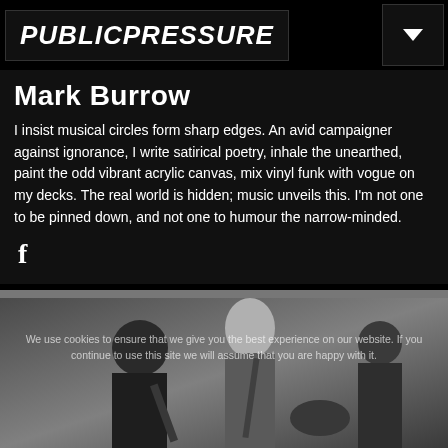PUBLICPRESSURE
Mark Burrow
I insist musical circles form sharp edges. An avid campaigner against ignorance, I write satirical poetry, inhale the unearthed, paint the odd vibrant acrylic canvas, mix vinyl funk with vogue on my decks. The real world is hidden; music unveils this. I'm not one to be pinned down, and not one to humour the narrow-minded.
[Figure (photo): Black and white photo of two musicians, a woman playing bass guitar in the foreground and a man playing guitar behind her, in what appears to be a rehearsal space]
We use cookies to ensure that we give you the best experience on our website. If you continue to use this site we will assume that you are happy with it.